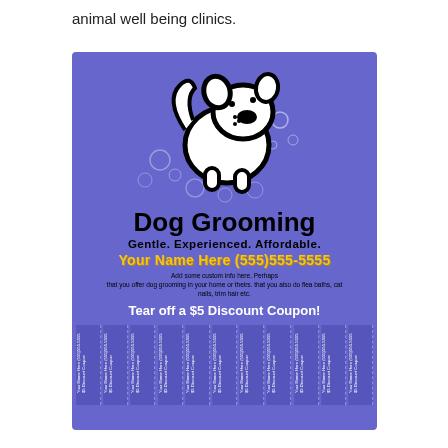animal well being clinics.
[Figure (illustration): Dog grooming flyer with purple background featuring a cartoon dog illustration, bubbles, title 'Dog Grooming', tagline 'Gentle. Experienced. Affordable.', phone number placeholder 'Your Name Here (555)555-5555', body text about custom info, tear-off discount coupon strips at the bottom.]